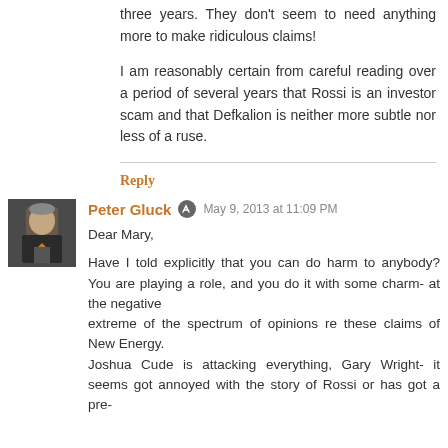three years. They don't seem to need anything more to make ridiculous claims!
I am reasonably certain from careful reading over a period of several years that Rossi is an investor scam and that Defkalion is neither more subtle nor less of a ruse.
Reply
Peter Gluck
May 9, 2013 at 11:09 PM
Dear Mary,
Have I told explicitly that you can do harm to anybody? You are playing a role, and you do it with some charm- at the negative extreme of the spectrum of opinions re these claims of New Energy. Joshua Cude is attacking everything, Gary Wright- it seems got annoyed with the story of Rossi or has got a pre-